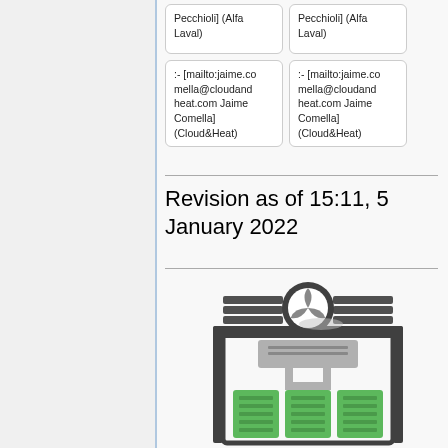| Pecchioli] (Alfa Laval) | Pecchioli] (Alfa Laval) |
| :- [mailto:jaime.comella@cloudandheat.com Jaime Comella] (Cloud&Heat) | :- [mailto:jaime.comella@cloudandheat.com Jaime Comella] (Cloud&Heat) |
Revision as of 15:11, 5 January 2022
[Figure (illustration): Engineering illustration of a server rack cooling system with a fan/turbine unit on top and three green server racks below connected by pipes/cables]